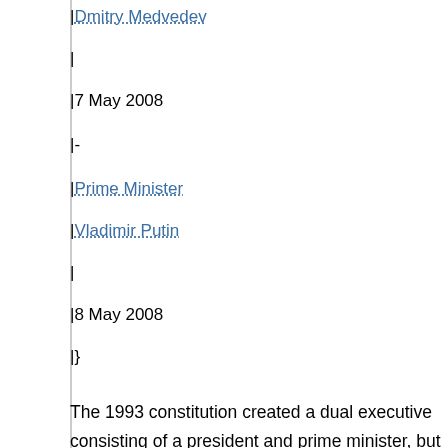|Dmitry Medvedev
|
|7 May 2008
|-
|Prime Minister
|Vladimir Putin
|
|8 May 2008
|}
The 1993 constitution created a dual executive consisting of a president and prime minister, but the president is the dominant figure. Russia's strong presidency sometimes is compared with that of Charles de Gaulle (in office 1958-69) in the French Fifth Republic. The constitution spells out many prerogatives specifically, but some powers enjoyed